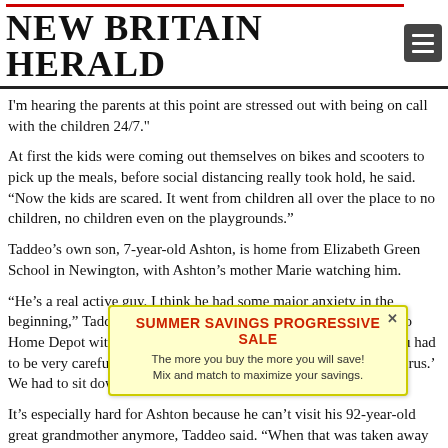NEW BRITAIN HERALD
I'm hearing the parents at this point are stressed out with being on call with the children 24/7."
At first the kids were coming out themselves on bikes and scooters to pick up the meals, before social distancing really took hold, he said. “Now the kids are scared. It went from children all over the place to no children, no children even on the playgrounds.”
Taddeo’s own son, 7-year-old Ashton, is home from Elizabeth Green School in Newington, with Ashton’s mother Marie watching him.
“He’s a real active guy. I think he had some major anxiety in the beginning,” Taddeo said. “He was very scared. I asked him to go to Home Depot with me, this was when you could still go out but you had to be very careful, and he said ‘no, I don’t want to get the coronavirus.’ We had to sit down and talk about it.”
It’s especially hard for Ashton because he can’t visit his 92-year-old great grandmother anymore, Taddeo said. “When that was taken away from him he really understood this is serious business. I know it breaks her heart too.”
Ashton still and to see his friends all the kids together c Whoever make th to focus on
[Figure (other): Advertisement overlay: SUMMER SAVINGS PROGRESSIVE SALE - The more you buy the more you will save! Mix and match to maximize your savings.]